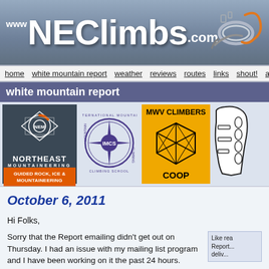www.NEClimbs.com
home  white mountain report  weather  reviews  routes  links  shout!  arch
white mountain report
[Figure (logo): Northeast Mountaineering logo - dark blue background with compass/gear icon, orange accent, text NORTHEAST MOUNTAINEERING GUIDED ROCK, ICE & MOUNTAINEERING]
[Figure (logo): International Mountain Climbing School (IMCS) logo - purple compass star design with text around circle]
[Figure (logo): MWV Climbers Coop logo - yellow background with black geometric crystal/polyhedron shape, text MWV CLIMBERS COOP]
[Figure (illustration): Partial climbing shoe illustration in black and white]
October 6, 2011
Hi Folks,
Sorry that the Report emailing didn't get out on Thursday. I had an issue with my mailing list program and I have been working on it the past 24 hours. Hopefully it will be resolved zoom...
Like rea Report... deliv...